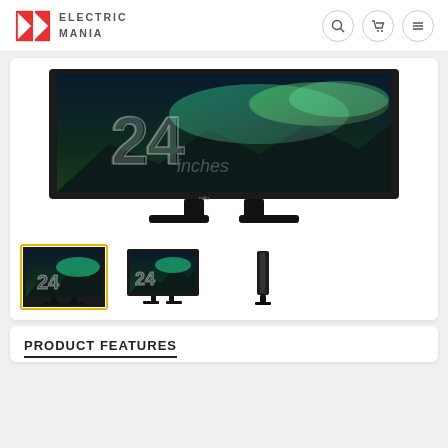ELECTRIC MANIA
[Figure (photo): 24-inch LED TV with aurora borealis display image, shown from front with stand]
[Figure (photo): Thumbnail 1: 24-inch LED TV front view (active/selected, yellow border)]
[Figure (photo): Thumbnail 2: 24-inch LED TV front angle view]
[Figure (photo): Thumbnail 3: 24-inch LED TV side profile view]
PRODUCT FEATURES